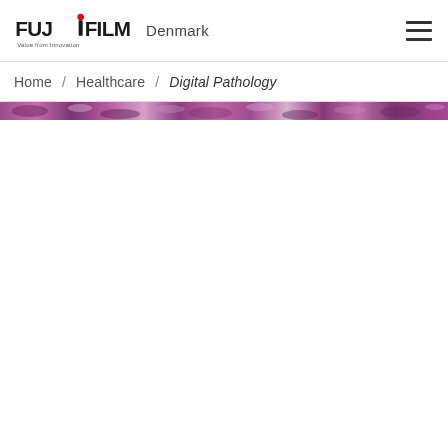FUJIFILM Value from Innovation — Denmark
Home / Healthcare / Digital Pathology
[Figure (photo): Thin horizontal banner strip showing a microscopy slide image with purple/pink stained tissue (hematoxylin and eosin stain), used as a decorative hero image for the Digital Pathology page.]